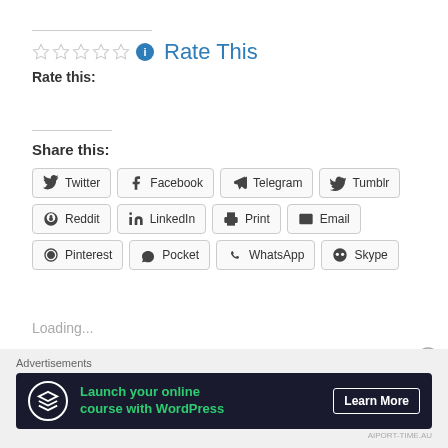[Figure (screenshot): Star rating row with 5 empty stars, info icon, and 'Rate This' text in blue]
Rate this:
Share this:
[Figure (screenshot): Social share buttons: Twitter, Facebook, Telegram, Tumblr, Reddit, LinkedIn, Print, Email, Pinterest, Pocket, WhatsApp, Skype]
Loading...
Advertisements
[Figure (screenshot): Dark advertisement banner: 'Launch your online course with WordPress' with Learn More button]